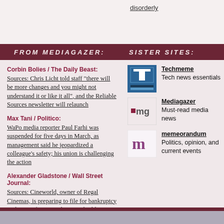disorderly
FROM MEDIAGAZER:   SISTER SITES:
Corbin Bolies / The Daily Beast: Sources: Chris Licht told staff “there will be more changes and you might not understand it or like it all”, and the Reliable Sources newsletter will relaunch
Max Tani / Politico: WaPo media reporter Paul Farhi was suspended for five days in March, as management said he jeopardized a colleague's safety; his union is challenging the action
Alexander Gladstone / Wall Street Journal: Sources: Cineworld, owner of Regal Cinemas, is preparing to file for bankruptcy in the US after struggling to rebuild attendance since the pandemic
Techmeme - Tech news essentials
Mediagazer - Must-read media news
memeorandum - Politics, opinion, and current events